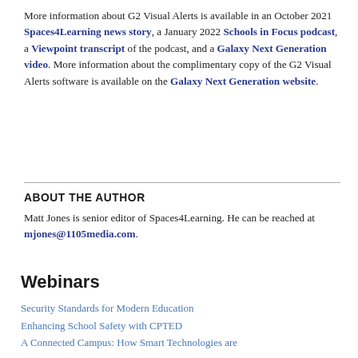More information about G2 Visual Alerts is available in an October 2021 Spaces4Learning news story, a January 2022 Schools in Focus podcast, a Viewpoint transcript of the podcast, and a Galaxy Next Generation video. More information about the complimentary copy of the G2 Visual Alerts software is available on the Galaxy Next Generation website.
ABOUT THE AUTHOR
Matt Jones is senior editor of Spaces4Learning. He can be reached at mjones@1105media.com.
Webinars
Security Standards for Modern Education
Enhancing School Safety with CPTED
A Connected Campus: How Smart Technologies are